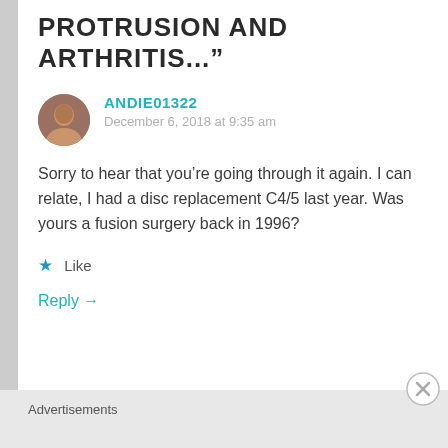PROTRUSION AND ARTHRITIS..."
ANDIE01322
December 6, 2018 at 9:35 am
Sorry to hear that you’re going through it again. I can relate, I had a disc replacement C4/5 last year. Was yours a fusion surgery back in 1996?
★ Like
Reply →
Advertisements